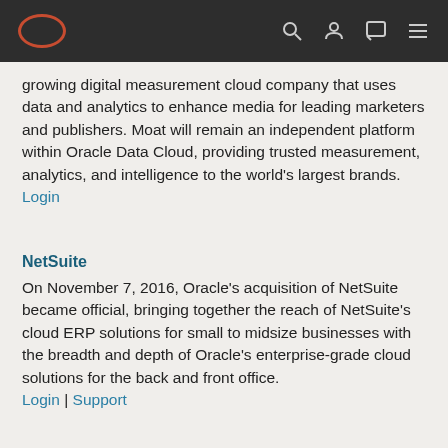Oracle navigation bar with logo and icons
growing digital measurement cloud company that uses data and analytics to enhance media for leading marketers and publishers. Moat will remain an independent platform within Oracle Data Cloud, providing trusted measurement, analytics, and intelligence to the world's largest brands.
Login
NetSuite
On November 7, 2016, Oracle's acquisition of NetSuite became official, bringing together the reach of NetSuite's cloud ERP solutions for small to midsize businesses with the breadth and depth of Oracle's enterprise-grade cloud solutions for the back and front office.
Login | Support
Nor1